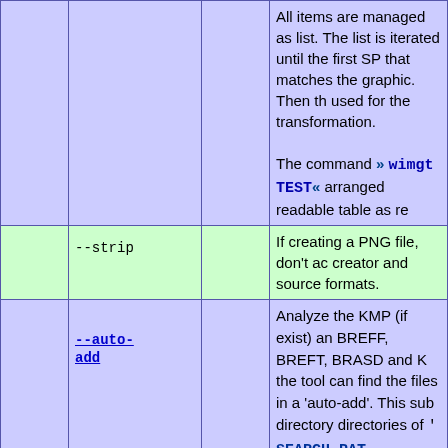|  | Option |  | Description |
| --- | --- | --- | --- |
|  |  |  | All items are managed as list. The list is iterated until the first SP that matches the graphic. Then the SP is used for the transformation.
The command » wimgt TEST« arranged readable table as re... |
|  | --strip |  | If creating a PNG file, don't add creator and source formats. |
|  | --auto-add |  | Analyze the KMP (if exist) and BREFF, BREFT, BRASD and KO... the tool can find the files in a 'auto-add'. This sub directory directories of ' SEARCH_PAT... » wszst AUTOADD « to view ... » wszst AUTOADD « may also... database. --aadd is a short... |
|  | --mipmaps |  | If reading a source, scan for mipmaps too. For PNG files, files named #=1.. are searched. This is the short cut. |
|  | --no- |  | If reading a source, ignore mi... not the creation of mipmaps... |